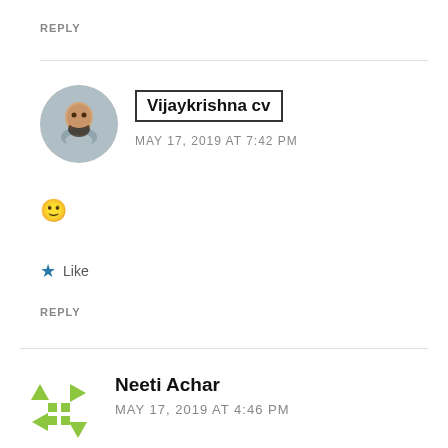REPLY
Vijaykrishna cv
MAY 17, 2019 AT 7:42 PM
🙂
Like
REPLY
Neeti Achar
MAY 17, 2019 AT 4:46 PM